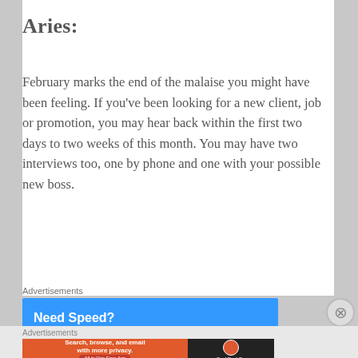Aries:
February marks the end of the malaise you might have been feeling. If you've been looking for a new client, job or promotion, you may hear back within the first two days to two weeks of this month. You may have two interviews too, one by phone and one with your possible new boss.
[Figure (other): Advertisement banner: Need Speed? Get Pressable - blue background with person flying]
[Figure (other): Advertisement banner: DuckDuckGo - Search, browse, and email with more privacy. All in One Free App]